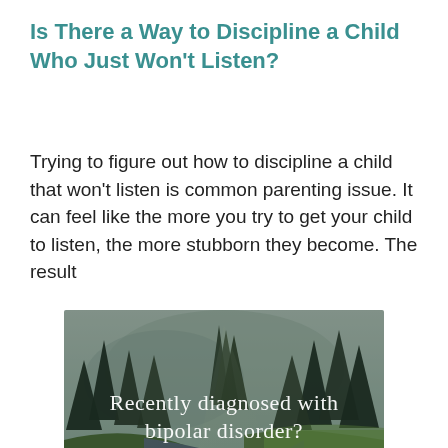Is There a Way to Discipline a Child Who Just Won't Listen?
Trying to figure out how to discipline a child that won't listen is common parenting issue. It can feel like the more you try to get your child to listen, the more stubborn they become. The result
[Figure (photo): Forest landscape with river, pine trees and text overlay: 'Recently diagnosed with bipolar disorder? DOWNLOAD OUR FREE EBOOK NOW.']
advertisement